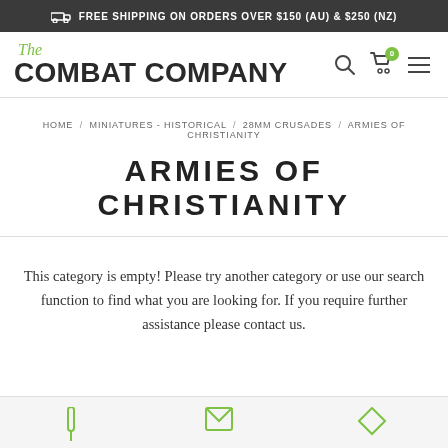FREE SHIPPING ON ORDERS OVER $150 (AU) & $250 (NZ)
[Figure (logo): The Combat Company logo with green italic 'The' and bold uppercase 'COMBAT COMPANY' text]
HOME / MINIATURES - HISTORICAL / 28MM CRUSADES / ARMIES OF CHRISTIANITY
ARMIES OF CHRISTIANITY
This category is empty! Please try another category or use our search function to find what you are looking for. If you require further assistance please contact us.